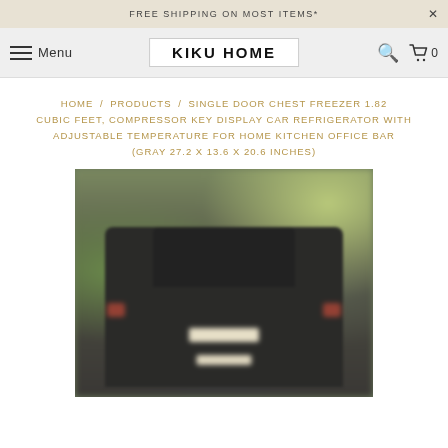FREE SHIPPING ON MOST ITEMS*
KIKU HOME | Menu | Search | Cart 0
HOME / PRODUCTS / SINGLE DOOR CHEST FREEZER 1.82 CUBIC FEET, COMPRESSOR KEY DISPLAY CAR REFRIGERATOR WITH ADJUSTABLE TEMPERATURE FOR HOME KITCHEN OFFICE BAR (GRAY 27.2 X 13.6 X 20.6 INCHES)
[Figure (photo): Blurred photo showing the rear of a dark SUV/car viewed from behind, parked outdoors with green trees and buildings in the background.]